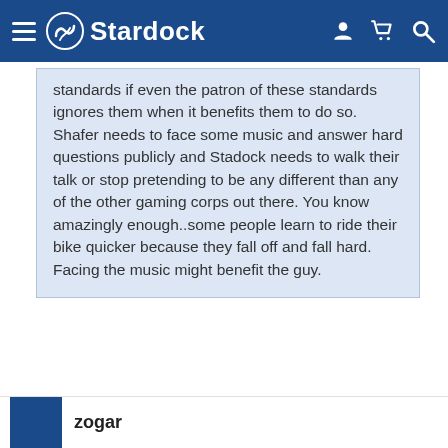Stardock
standards if even the patron of these standards ignores them when it benefits them to do so. Shafer needs to face some music and answer hard questions publicly and Stadock needs to walk their talk or stop pretending to be any different than any of the other gaming corps out there. You know amazingly enough..some people learn to ride their bike quicker because they fall off and fall hard. Facing the music might benefit the guy.
Hey thweetheart, it's not the end of the world. Not even the end of your world. Why don't you just take a midol and get over it.
zogar